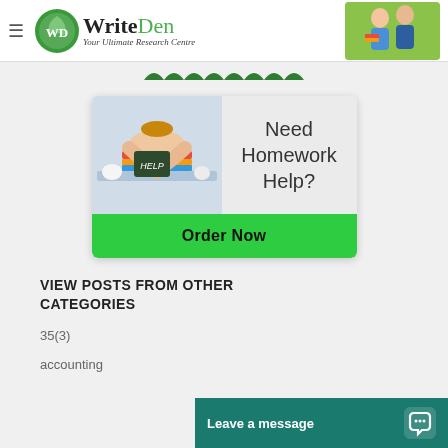[Figure (logo): WriteDen logo with green circular icon, bold text 'WriteDen', tagline 'Your Ultimate Research Centre', and photo of two students on green background]
[Figure (illustration): Scallop/wave decorative divider bar in dark green]
[Figure (infographic): Ad box: stressed student with HELP sign on books, text 'Need Homework Help?', green 'Order Now' button]
VIEW POSTS FROM OTHER CATEGORIES
35(3)
accounting
[Figure (screenshot): Teal chat bar at bottom right: 'Leave a message' with chat bubble icon]